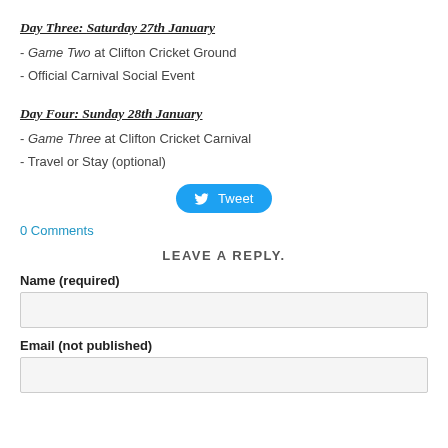Day Three: Saturday 27th January
- Game Two at Clifton Cricket Ground
- Official Carnival Social Event
Day Four: Sunday 28th January
- Game Three at Clifton Cricket Carnival
- Travel or Stay (optional)
[Figure (other): Tweet button]
0 Comments
LEAVE A REPLY.
Name (required)
Email (not published)